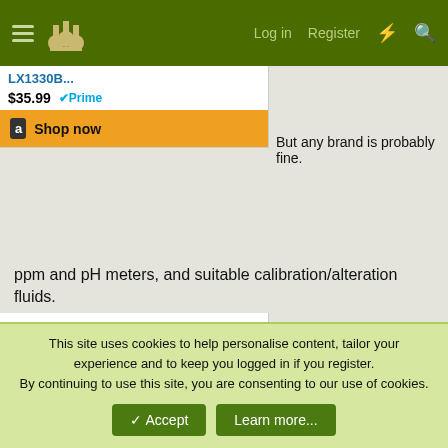Navigation bar with menu, trophy icon, Log in, Register, and search icons
[Figure (screenshot): Amazon product widget showing LX1330B... at $35.99 with Prime badge and Shop now button]
But any brand is probably fine.
ppm and pH meters, and suitable calibration/alteration fluids.
[Figure (screenshot): Amazon product widget showing APERA INSTRUMENTS pH meter with amazon logo and product image]
This site uses cookies to help personalise content, tailor your experience and to keep you logged in if you register.
By continuing to use this site, you are consenting to our use of cookies.
Accept | Learn more...